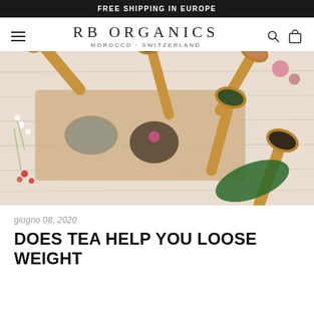FREE SHIPPING IN EUROPE
[Figure (logo): RB Organics logo with tagline MOROCCO · SWITZERLAND and navigation icons (hamburger menu, search, cart)]
[Figure (photo): Top-down view of various herbal teas in wooden spoons arranged on a white wooden surface with floral accents]
giugno 08, 2020
DOES TEA HELP YOU LOOSE WEIGHT